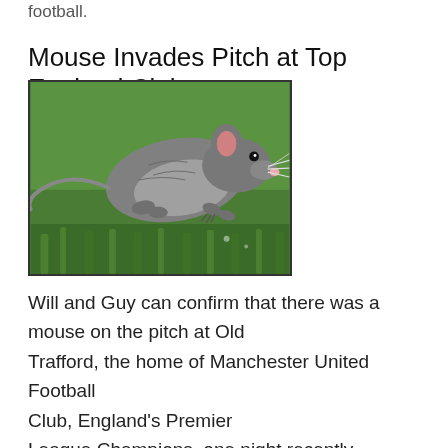football.
Mouse Invades Pitch at Top England Club
[Figure (photo): A mouse leaping or running across green grass, photographed close-up against a green background.]
Will and Guy can confirm that there was a mouse on the pitch at Old Trafford, the home of Manchester United Football Club, England's Premier League Champions, one night recently.